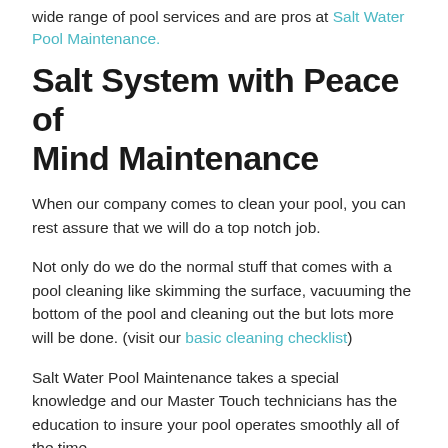wide range of pool services and are pros at Salt Water Pool Maintenance.
Salt System with Peace of Mind Maintenance
When our company comes to clean your pool, you can rest assure that we will do a top notch job.
Not only do we do the normal stuff that comes with a pool cleaning like skimming the surface, vacuuming the bottom of the pool and cleaning out the but lots more will be done. (visit our basic cleaning checklist)
Salt Water Pool Maintenance takes a special knowledge and our Master Touch technicians has the education to insure your pool operates smoothly all of the time.
That's why when we send a pool technician to your